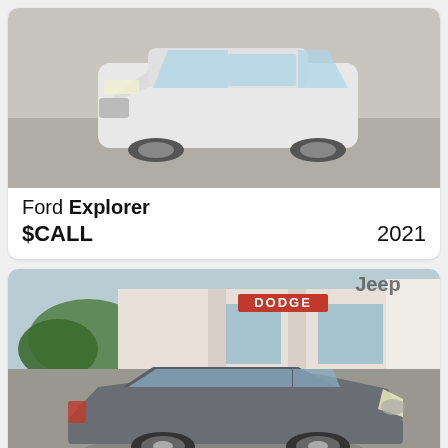[Figure (photo): White Ford Explorer SUV parked in a parking lot, front 3/4 view from above]
Ford Explorer
$CALL  2021
[Figure (photo): Gray Nissan Altima sedan parked in front of a Chrysler Dodge Jeep dealership]
Nissan Altima